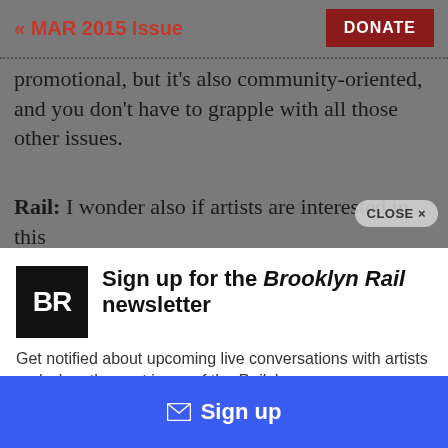« MAR 2015 Issue | DONATE
promotional, but it's also community-oriented, and you don't have to grapple with all those other issues.
Rail: I wonder also if artists are interested in this
CLOSE ×
[Figure (logo): Brooklyn Rail BR logo, black square with white BR text]
Sign up for the Brooklyn Rail newsletter
Get notified about upcoming live conversations with artists and when the next issue of the Rail drops.
✉ Sign up